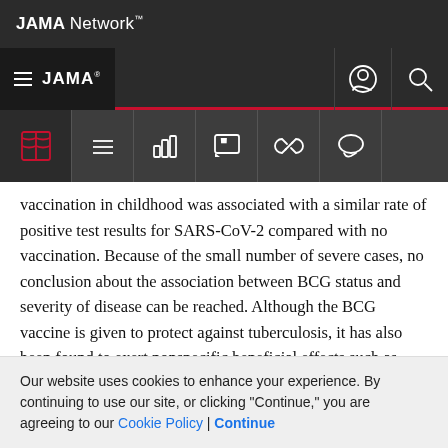JAMA Network
JAMA
vaccination in childhood was associated with a similar rate of positive test results for SARS-CoV-2 compared with no vaccination. Because of the small number of severe cases, no conclusion about the association between BCG status and severity of disease can be reached. Although the BCG vaccine is given to protect against tuberculosis, it has also been found to exert nonspecific beneficial effects such as protection against other infectious diseases³ and
Our website uses cookies to enhance your experience. By continuing to use our site, or clicking “Continue,” you are agreeing to our Cookie Policy | Continue